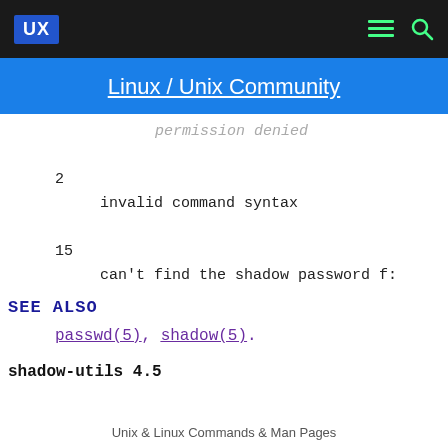UX | [menu icon] [search icon]
Linux / Unix Community
permission denied

2
    invalid command syntax

15
    can't find the shadow password f:
SEE ALSO
passwd(5), shadow(5).
shadow-utils 4.5
Unix & Linux Commands & Man Pages